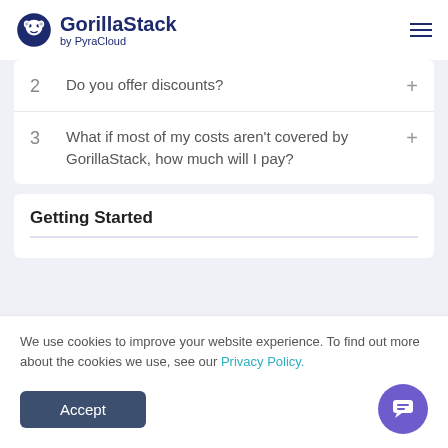GorillaStack by PyraCloud
2  Do you offer discounts?
3  What if most of my costs aren't covered by GorillaStack, how much will I pay?
Getting Started
We use cookies to improve your website experience. To find out more about the cookies we use, see our Privacy Policy.